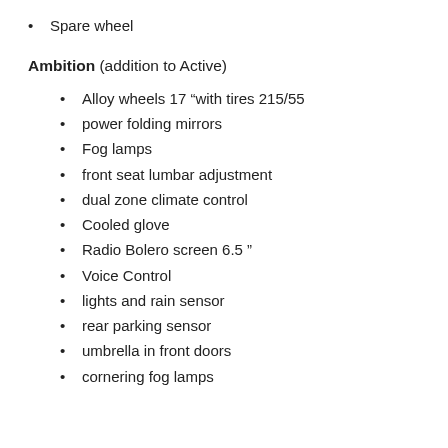Spare wheel
Ambition (addition to Active)
Alloy wheels 17 “with tires 215/55
power folding mirrors
Fog lamps
front seat lumbar adjustment
dual zone climate control
Cooled glove
Radio Bolero screen 6.5 ”
Voice Control
lights and rain sensor
rear parking sensor
umbrella in front doors
cornering fog lamps